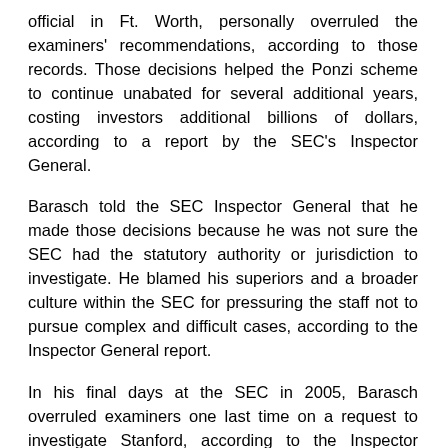official in Ft. Worth, personally overruled the examiners' recommendations, according to those records. Those decisions helped the Ponzi scheme to continue unabated for several additional years, costing investors additional billions of dollars, according to a report by the SEC's Inspector General.
Barasch told the SEC Inspector General that he made those decisions because he was not sure the SEC had the statutory authority or jurisdiction to investigate. He blamed his superiors and a broader culture within the SEC for pressuring the staff not to pursue complex and difficult cases, according to the Inspector General report.
In his final days at the SEC in 2005, Barasch overruled examiners one last time on a request to investigate Stanford, according to the Inspector General report and interviews with SEC officials. The SEC's formal investigation of Stanford began exactly one day after Barasch left the agency.
Barasch referred questions to his lawyer; his attorney didn't